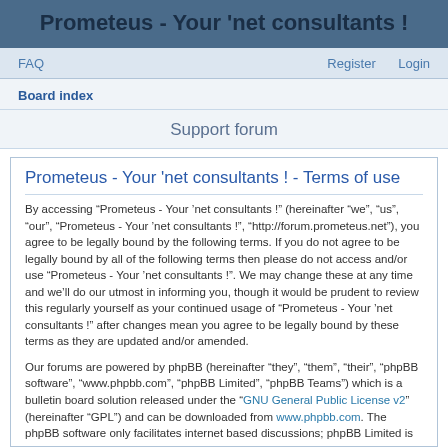Prometeus - Your 'net consultants !
FAQ   Register   Login
Board index
Support forum
Prometeus - Your 'net consultants ! - Terms of use
By accessing “Prometeus - Your ’net consultants !” (hereinafter “we”, “us”, “our”, “Prometeus - Your ’net consultants !”, “http://forum.prometeus.net”), you agree to be legally bound by the following terms. If you do not agree to be legally bound by all of the following terms then please do not access and/or use “Prometeus - Your ’net consultants !”. We may change these at any time and we’ll do our utmost in informing you, though it would be prudent to review this regularly yourself as your continued usage of “Prometeus - Your ’net consultants !” after changes mean you agree to be legally bound by these terms as they are updated and/or amended.
Our forums are powered by phpBB (hereinafter “they”, “them”, “their”, “phpBB software”, “www.phpbb.com”, “phpBB Limited”, “phpBB Teams”) which is a bulletin board solution released under the “GNU General Public License v2” (hereinafter “GPL”) and can be downloaded from www.phpbb.com. The phpBB software only facilitates internet based discussions; phpBB Limited is not responsible for what we